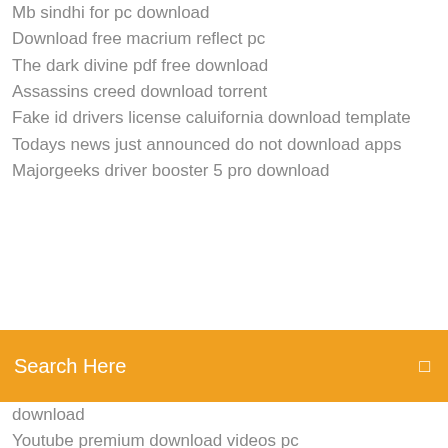Mb sindhi for pc download
Download free macrium reflect pc
The dark divine pdf free download
Assassins creed download torrent
Fake id drivers license caluifornia download template
Todays news just announced do not download apps
Majorgeeks driver booster 5 pro download
Search Here
download
Youtube premium download videos pc
Pdf the optimist creed by lawson download
Movavi slideshow maker torrent download
The leaky gut cure pdf free download
Download the tv or videos app
Final cut pro x version 10.4 download
Petrology blatt 3rd edition pdf download
Star wars battlefront 2 graphics mod 2019 download
File downloads physics book pdf